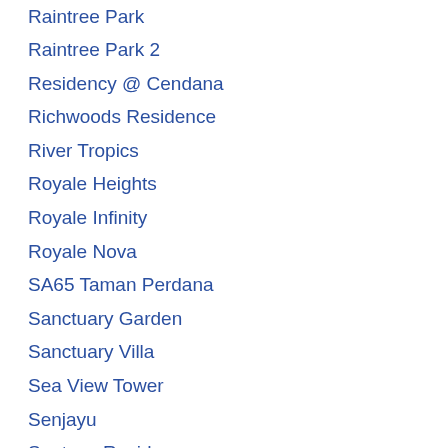Raintree Park
Raintree Park 2
Residency @ Cendana
Richwoods Residence
River Tropics
Royale Heights
Royale Infinity
Royale Nova
SA65 Taman Perdana
Sanctuary Garden
Sanctuary Villa
Sea View Tower
Senjayu
Sentosa Residence
SeventyNine Residence
Skyvilla @ Sunway Wellesley
Springs Ville
Sunway Wellesley